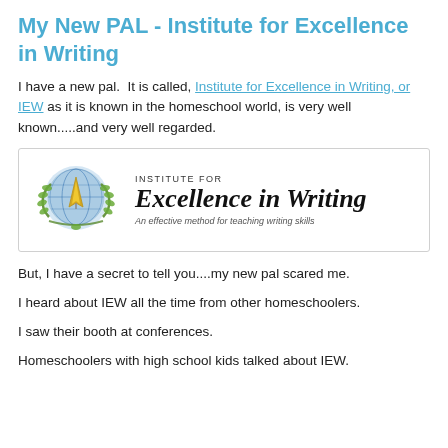My New PAL - Institute for Excellence in Writing
I have a new pal. It is called, Institute for Excellence in Writing, or IEW as it is known in the homeschool world, is very well known.....and very well regarded.
[Figure (logo): Institute for Excellence in Writing logo with globe and pen nib emblem surrounded by laurel wreath, beside text 'INSTITUTE FOR Excellence in Writing An effective method for teaching writing skills']
But, I have a secret to tell you....my new pal scared me.
I heard about IEW all the time from other homeschoolers.
I saw their booth at conferences.
Homeschoolers with high school kids talked about IEW.